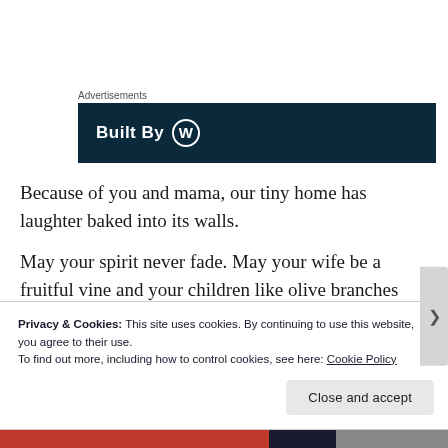Advertisements
[Figure (other): Advertisement banner with dark navy background showing 'Built By' text with WordPress logo]
Because of you and mama, our tiny home has laughter baked into its walls.
May your spirit never fade. May your wife be a fruitful vine and your children like olive branches around God’s table.
Privacy & Cookies: This site uses cookies. By continuing to use this website, you agree to their use.
To find out more, including how to control cookies, see here: Cookie Policy
Close and accept